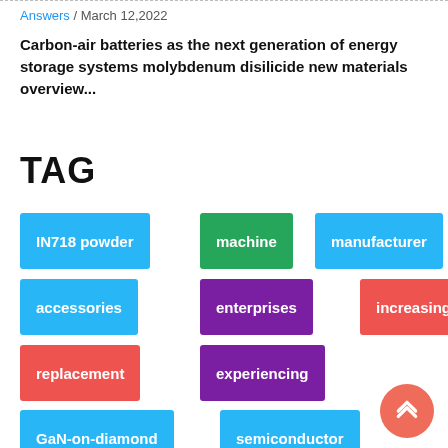Answers / March 12,2022
Carbon-air batteries as the next generation of energy storage systems molybdenum disilicide new materials overview...
TAG
IN718 powder
machine
manufacturer
accessories
enterprises
increasing
replacement
experiencing
GaN-on-diamond
semiconductor
materials